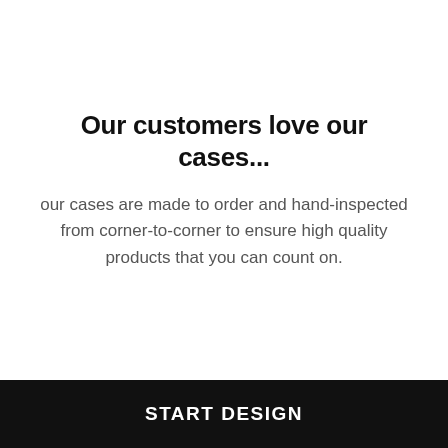Our customers love our cases...
our cases are made to order and hand-inspected from corner-to-corner to ensure high quality products that you can count on.
START DESIGN